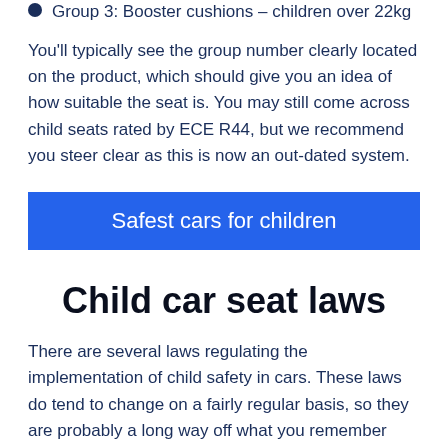Group 3: Booster cushions – children over 22kg
You'll typically see the group number clearly located on the product, which should give you an idea of how suitable the seat is. You may still come across child seats rated by ECE R44, but we recommend you steer clear as this is now an out-dated system.
[Figure (other): Blue button/banner with white text reading 'Safest cars for children']
Child car seat laws
There are several laws regulating the implementation of child safety in cars. These laws do tend to change on a fairly regular basis, so they are probably a long way off what you remember from your own childhood. We've